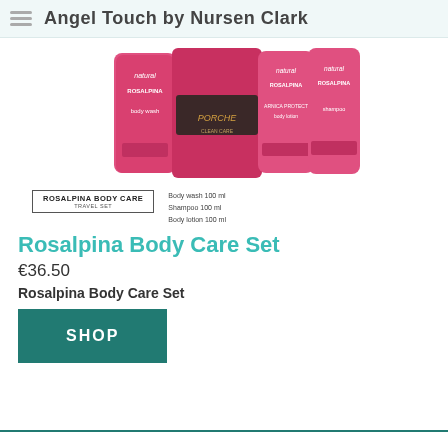Angel Touch by Nursen Clark
[Figure (photo): Three pink cylindrical bottles of Rosalpina body care products (body wash, shampoo, body lotion) arranged together with a decorative gift box, labeled 'natural' and 'ROSALPINA']
ROSALPINA BODY CARE TRAVEL SET — Body wash 100 ml, Shampoo 100 ml, Body lotion 100 ml
Rosalpina Body Care Set
€36.50
Rosalpina Body Care Set
SHOP